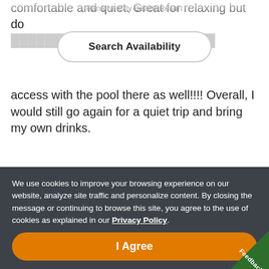Panama City Beach Resort
Search Availability
comfortable and quiet. Great for relaxing but do access with the pool there as well!!!! Overall, I would still go again for a quiet trip and bring my own drinks.
Yes, I recommend this property.
We use cookies to improve your browsing experience on our website, analyze site traffic and personalize content. By closing the message or continuing to browse this site, you agree to the use of cookies as explained in our Privacy Policy.
I Agree